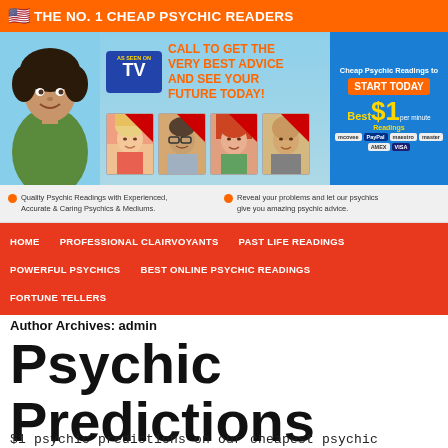[Figure (screenshot): Psychic readings website banner with woman photo, TV logo, call-to-action text, psychic advisor faces, and payment options]
Quality Psychic Readings with Experienced, Accurate & Caring Psychics & Mediums. | Reveal your problems and let our psychics give you amazing psychic advice.
HOME | PROFESSIONAL CLAIRVOYANTS | PAST LIFE READINGS | POWERFUL PSYCHICS | BEST ONLINE PSYCHIC READINGS | FORTUNE TELLERS
Author Archives: admin
Psychic Predictions
$1 psychic predictions on our cheapest psychic